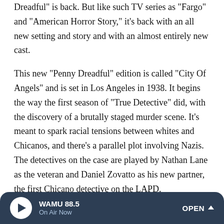Dreadful" is back. But like such TV series as "Fargo" and "American Horror Story," it's back with an all new setting and story and with an almost entirely new cast.
This new "Penny Dreadful" edition is called "City Of Angels" and is set in Los Angeles in 1938. It begins the way the first season of "True Detective" did, with the discovery of a brutally staged murder scene. It's meant to spark racial tensions between whites and Chicanos, and there's a parallel plot involving Nazis. The detectives on the case are played by Nathan Lane as the veteran and Daniel Zovatto as his new partner, the first Chicano detective on the LAPD.
The scene-stealer in this "Penny Dreadful" once again is a woman. This time she's Natalie Dormer from "Game Of
WAMU 88.5 On Air Now OPEN